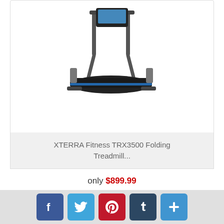[Figure (photo): XTERRA Fitness TRX3500 Folding Treadmill product image, partial view showing treadmill from above]
XTERRA Fitness TRX3500 Folding Treadmill...
only $899.99
VIEW
BUY AT AMAZON
[Figure (photo): Second treadmill product image, partial view at bottom of card]
[Figure (infographic): Social sharing bar with Facebook, Twitter, Pinterest, Tumblr, and Plus buttons]